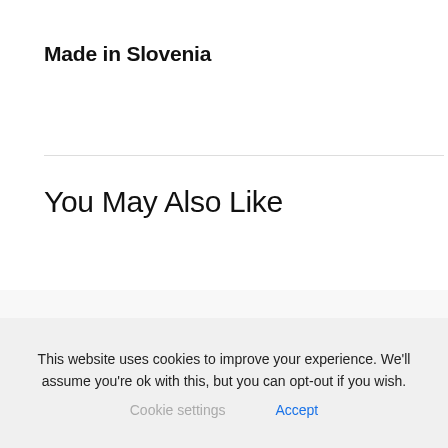Made in Slovenia
You May Also Like
[Figure (photo): Product photos showing a bee-shaped item on the left and dark floral socks/slippers on the right]
This website uses cookies to improve your experience. We'll assume you're ok with this, but you can opt-out if you wish. Cookie settings  Accept